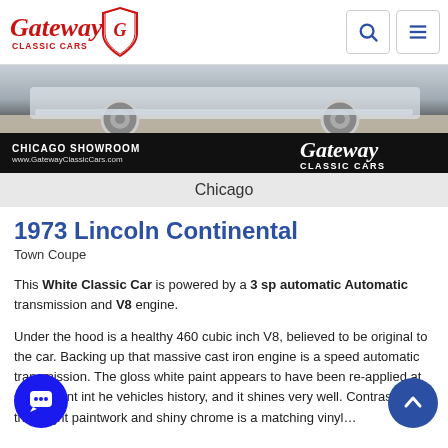Gateway Classic Cars — Chicago Showroom — www.GatewayClassicCars.com
[Figure (photo): Gateway Classic Cars Chicago showroom banner with a white classic car's rear end visible and Gateway Classic Cars logo overlay on dark background]
Chicago
1973 Lincoln Continental
Town Coupe
This White Classic Car is powered by a 3 sp automatic Automatic transmission and V8 engine.
Under the hood is a healthy 460 cubic inch V8, believed to be original to the car. Backing up that massive cast iron engine is a speed automatic transmission. The gloss white paint appears to have been re-applied at some point in the vehicles history, and it shines very well. Contrasting the bright paintwork and shiny chrome is a matching vinyl...